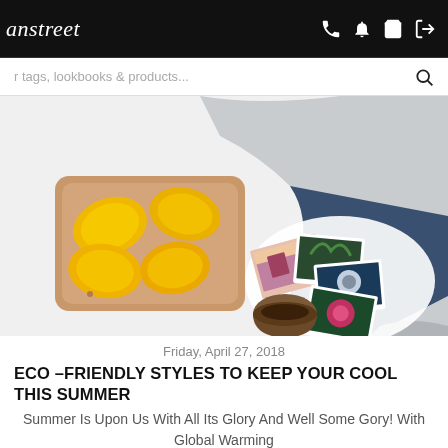anstreet  [phone] [bell] [cart] [login]
r tags, lookbooks & products...
[Figure (photo): Flat lay photo showing mangoes on a wooden cutting board, a gray linen garment, scattered colorful photo prints, and a ceramic coffee cup on a white surface.]
Friday, April 27, 2018
ECO –FRIENDLY STYLES TO KEEP YOUR COOL THIS SUMMER
Summer Is Upon Us With All Its Glory And Well Some Gory! With Global Warming